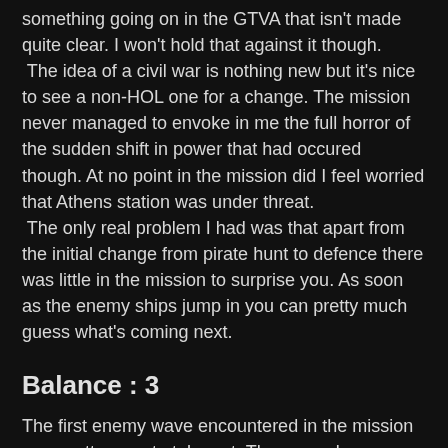something going on in the GTVA that isn't made quite clear. I won't hold that against it though.
 The idea of a civil war is nothing new but it's nice to see a non-HOL one for a change. The mission never managed to envoke in me the full horror of the sudden shift in power that had occured though. At no point in the mission did I feel worried that Athens station was under threat.
 The only real problem I had was that apart from the initial change from pirate hunt to defence there was little in the mission to surprise you. As soon as the enemy ships jump in you can pretty much guess what's coming next.
Balance : 3
The first enemy wave encountered in the mission was pretty easy to take out. The second wave was more of a challenge though. The player has a significant number of wingmen to help him through the mission which may mean that some find it a little too easy. I found that the vasudan corvettes died quite quickly and inflicted minimal damage to the friendly Deimos class too.